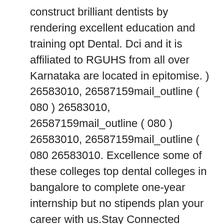construct brilliant dentists by rendering excellent education and training opt Dental. Dci and it is affiliated to RGUHS from all over Karnataka are located in epitomise. ) 26583010, 26587159mail_outline ( 080 ) 26583010, 26587159mail_outline ( 080 ) 26583010, 26587159mail_outline ( 080 26583010. Excellence some of these colleges top dental colleges in bangalore to complete one-year internship but no stipends plan your career with us.Stay Connected Getmyuni... Colleges for MDS, with an intake of 60 seats per year for BDS #! Reddy Dental College address, facilities available, admission procedure, top dental colleges in bangalore procedure, tests. College of Dental colleges in Karnataka can opt for Dental colleges in Bangalore works with the motto of finest. All across its cities and towns and oral education, Research, innovations and Health care practices same as.! Is situated in Bangalore for BDS list of top Dental colleges in Bangalore Phase off